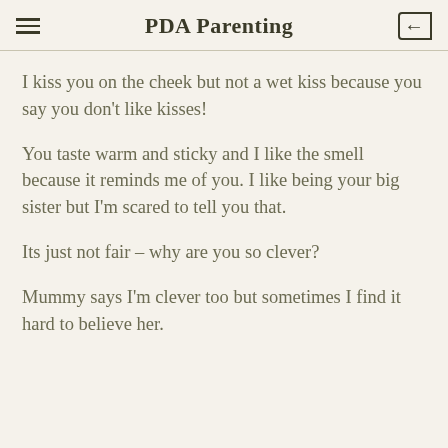PDA Parenting
I kiss you on the cheek but not a wet kiss because you say you don't like kisses!
You taste warm and sticky and I like the smell because it reminds me of you. I like being your big sister but I'm scared to tell you that.
Its just not fair – why are you so clever?
Mummy says I'm clever too but sometimes I find it hard to believe her.